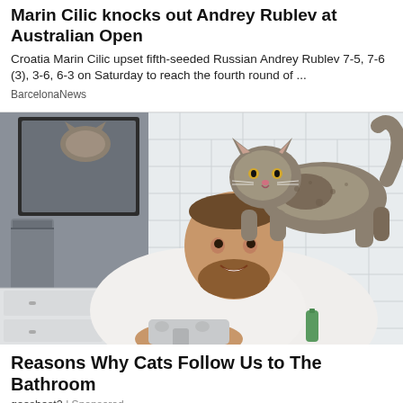Marin Cilic knocks out Andrey Rublev at Australian Open
Croatia Marin Cilic upset fifth-seeded Russian Andrey Rublev 7-5, 7-6 (3), 3-6, 6-3 on Saturday to reach the fourth round of ...
BarcelonaNews
[Figure (photo): A smiling bearded man in a white shirt is at a bathroom sink, while a calico/tabby cat sits on his shoulders/head, leaning toward his face. White subway tile walls, a mirror, and a grey towel are visible in the background.]
Reasons Why Cats Follow Us to The Bathroom
geasbest2 | Sponsored